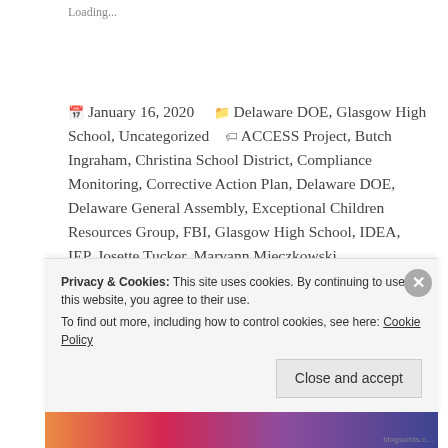Loading...
January 16, 2020   Delaware DOE, Glasgow High School, Uncategorized   ACCESS Project, Butch Ingraham, Christina School District, Compliance Monitoring, Corrective Action Plan, Delaware DOE, Delaware General Assembly, Exceptional Children Resources Group, FBI, Glasgow High School, IDEA, IEP, Josette Tucker, Maryann Mieczkowski, Memorandum of Agreement, Part B, Richard Gregg, Special
Privacy & Cookies: This site uses cookies. By continuing to use this website, you agree to their use.
To find out more, including how to control cookies, see here: Cookie Policy
Close and accept